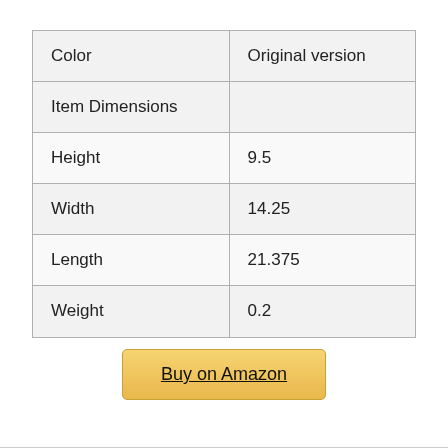| Color | Original version |
| --- | --- |
| Item Dimensions |  |
| Height | 9.5 |
| Width | 14.25 |
| Length | 21.375 |
| Weight | 0.2 |
Buy on Amazon